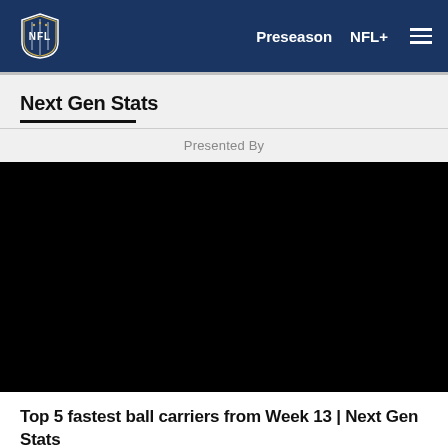NFL — Preseason  NFL+  ☰
Next Gen Stats
Presented By
[Figure (screenshot): Black video player area — content not visible]
Top 5 fastest ball carriers from Week 13 | Next Gen Stats